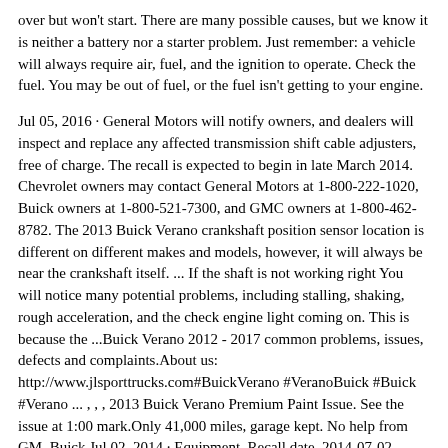over but won't start. There are many possible causes, but we know it is neither a battery nor a starter problem. Just remember: a vehicle will always require air, fuel, and the ignition to operate. Check the fuel. You may be out of fuel, or the fuel isn't getting to your engine.
Jul 05, 2016 · General Motors will notify owners, and dealers will inspect and replace any affected transmission shift cable adjusters, free of charge. The recall is expected to begin in late March 2014. Chevrolet owners may contact General Motors at 1-800-222-1020, Buick owners at 1-800-521-7300, and GMC owners at 1-800-462-8782. The 2013 Buick Verano crankshaft position sensor location is different on different makes and models, however, it will always be near the crankshaft itself. ... If the shaft is not working right You will notice many potential problems, including stalling, shaking, rough acceleration, and the check engine light coming on. This is because the ...Buick Verano 2012 - 2017 common problems, issues, defects and complaints.About us: http://www.jlsporttrucks.com#BuickVerano #VeranoBuick #Buick #Verano ... , , , 2013 Buick Verano Premium Paint Issue. See the issue at 1:00 mark.Only 41,000 miles, garage kept. No help from GM, Buick.Jul 02, 2014 · Equipment. Recall date. 2014-07-02. Recall no. 14V417000. General Motors LLC (GM) is recalling certain model year 2013-2014 Buick Encore all-wheel-drive vehicles manufactured August 23, 2012, to ...